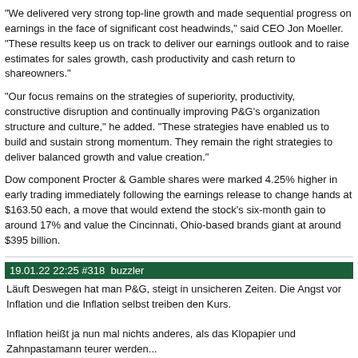“We delivered very strong top-line growth and made sequential progress on earnings in the face of significant cost headwinds,” said CEO Jon Moeller. “These results keep us on track to deliver our earnings outlook and to raise estimates for sales growth, cash productivity and cash return to shareowners.”
“Our focus remains on the strategies of superiority, productivity, constructive disruption and continually improving P&G’s organization structure and culture,” he added. “These strategies have enabled us to build and sustain strong momentum. They remain the right strategies to deliver balanced growth and value creation.”
Dow component Procter & Gamble shares were marked 4.25% higher in early trading immediately following the earnings release to change hands at $163.50 each, a move that would extend the stock’s six-month gain to around 17% and value the Cincinnati, Ohio-based brands giant at around $395 billion.
19.01.22 22:25  #318  buzzler
Läuft Deswegen hat man P&G, steigt in unsicheren Zeiten. Die Angst vor Inflation und die Inflation selbst treiben den Kurs.

Inflation heißt ja nun mal nichts anderes, als das Klopapier und Zahnpastamann teurer werden...

Das war also erwartbar.
25.02.22 10:09  #319  neymar
Procter & Gamble Stan Wong discusses Procter & Gamble
https://www.bnnbloomberg.ca/video/...discusses-procter-gamble~2389860